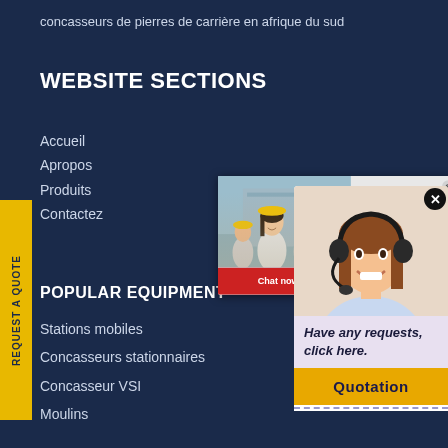concasseurs de pierres de carrière en afrique du sud
WEBSITE SECTIONS
Accueil
Apropos
Produits
Contactez
POPULAR EQUIPMENT
Stations mobiles
Concasseurs stationnaires
Concasseur VSI
Moulins
[Figure (screenshot): Live chat popup overlay with construction workers in hard hats image, red LIVE CHAT text, Chat now (red button) and Chat later (dark button)]
[Figure (screenshot): Customer support agent panel with photo of woman with headset, italic text 'Have any requests, click here.' and orange Quotation button]